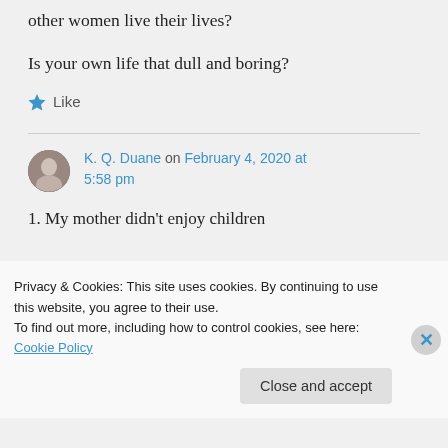other women live their lives?
Is your own life that dull and boring?
Like
K. Q. Duane on February 4, 2020 at 5:58 pm
1. My mother didn't enjoy children and yet she raised exceptionally
Privacy & Cookies: This site uses cookies. By continuing to use this website, you agree to their use. To find out more, including how to control cookies, see here: Cookie Policy
Close and accept